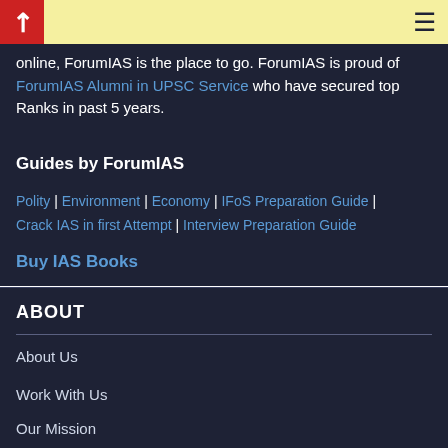ForumIAS logo and navigation menu
online, ForumIAS is the place to go. ForumIAS is proud of ForumIAS Alumni in UPSC Service who have secured top Ranks in past 5 years.
Guides by ForumIAS
Polity | Environment | Economy | IFoS Preparation Guide | Crack IAS in first Attempt | Interview Preparation Guide
Buy IAS Books
ABOUT
About Us
Work With Us
Our Mission